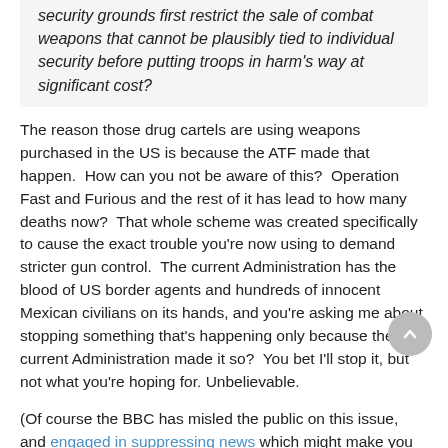security grounds first restrict the sale of combat weapons that cannot be plausibly tied to individual security before putting troops in harm's way at significant cost?
The reason those drug cartels are using weapons purchased in the US is because the ATF made that happen.  How can you not be aware of this?  Operation Fast and Furious and the rest of it has lead to how many deaths now?  That whole scheme was created specifically to cause the exact trouble you're now using to demand stricter gun control.  The current Administration has the blood of US border agents and hundreds of innocent Mexican civilians on its hands, and you're asking me about stopping something that's happening only because the current Administration made it so?  You bet I'll stop it, but not what you're hoping for. Unbelievable.

(Of course the BBC has misled the public on this issue, and engaged in suppressing news which might make you better informed. So they can get away with such an unbelievably, disgustingly biased question.)
10. Congress is considering legislation that would